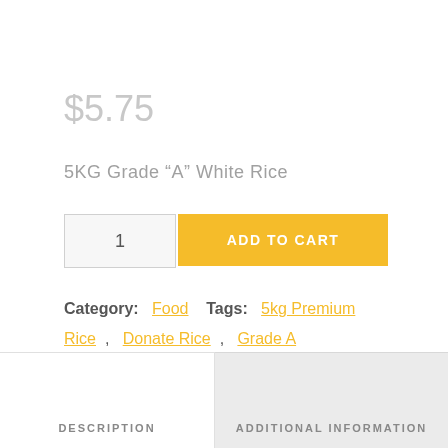$5.75
5KG Grade “A” White Rice
1
ADD TO CART
Category: Food  Tags: 5kg Premium Rice , Donate Rice , Grade A Rice , Premium Rice
DESCRIPTION
ADDITIONAL INFORMATION